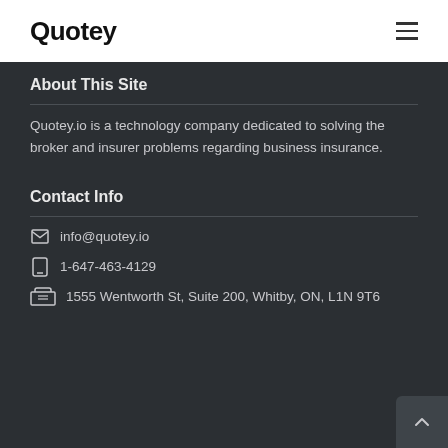Quotey
About This Site
Quotey.io is a technology company dedicated to solving the broker and insurer problems regarding business insurance.
Contact Info
info@quotey.io
1-647-463-4129
1555 Wentworth St, Suite 200, Whitby, ON, L1N 9T6